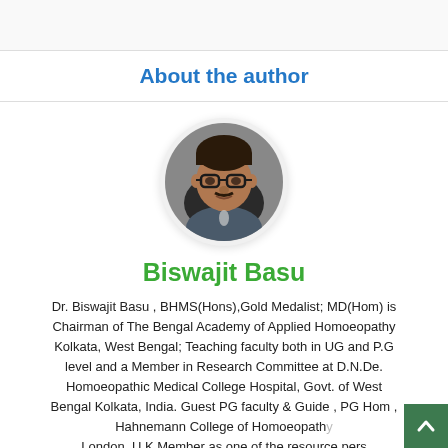About the author
[Figure (photo): Circular profile photo of Biswajit Basu, a man with glasses speaking at a microphone]
Biswajit Basu
Dr. Biswajit Basu , BHMS(Hons),Gold Medalist; MD(Hom) is Chairman of The Bengal Academy of Applied Homoeopathy Kolkata, West Bengal; Teaching faculty both in UG and P.G level and a Member in Research Committee at D.N.De. Homoeopathic Medical College Hospital, Govt. of West Bengal Kolkata, India. Guest PG faculty & Guide , PG Hom , Hahnemann College of Homoeopathy London, U.K Member as one of the resource pers